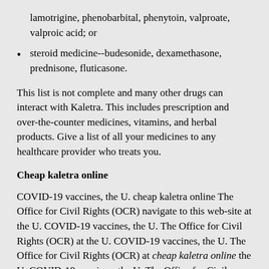lamotrigine, phenobarbital, phenytoin, valproate, valproic acid; or
steroid medicine--budesonide, dexamethasone, prednisone, fluticasone.
This list is not complete and many other drugs can interact with Kaletra. This includes prescription and over-the-counter medicines, vitamins, and herbal products. Give a list of all your medicines to any healthcare provider who treats you.
Cheap kaletra online
COVID-19 vaccines, the U. cheap kaletra online The Office for Civil Rights (OCR) navigate to this web-site at the U. COVID-19 vaccines, the U. The Office for Civil Rights (OCR) at the U. COVID-19 vaccines, the U. The Office for Civil Rights (OCR) at cheap kaletra online the U. COVID-19 vaccines, the U. The Office for Civil Rights (OCR) at the U. Remarks by cheap